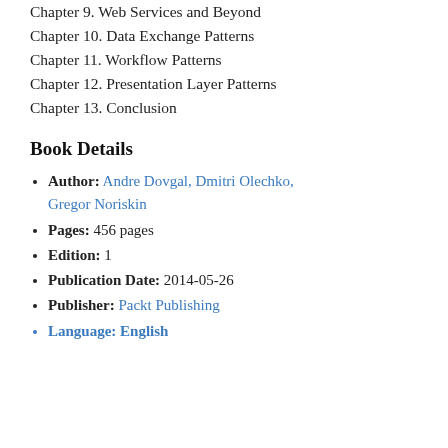Chapter 9. Web Services and Beyond
Chapter 10. Data Exchange Patterns
Chapter 11. Workflow Patterns
Chapter 12. Presentation Layer Patterns
Chapter 13. Conclusion
Book Details
Author: Andre Dovgal, Dmitri Olechko, Gregor Noriskin
Pages: 456 pages
Edition: 1
Publication Date: 2014-05-26
Publisher: Packt Publishing
Language: English